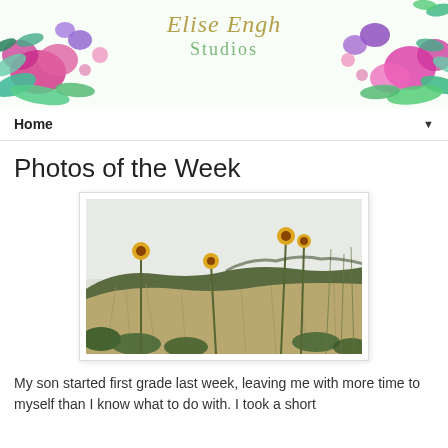[Figure (illustration): Elise Engh Studios decorative floral banner header with colorful watercolor flowers and leaves in pink, teal, purple and green on white background with studio name in gold/green script]
Home ▼
Photos of the Week
[Figure (photo): Outdoor nature photograph showing a hillside meadow with tall dry grasses, wild sunflowers, and green shrubs against an overcast white sky]
My son started first grade last week, leaving me with more time to myself than I know what to do with.  I took a short